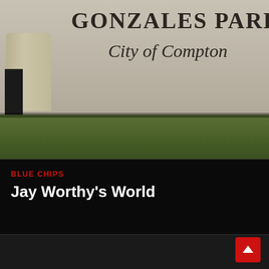[Figure (photo): Photo of a person's legs and feet wearing khaki pants and white Nike sneakers, standing in front of a concrete wall sign reading 'GONZALES PARK City of Compton', with grass visible at the bottom]
BLUE CHIPS
Jay Worthy's World